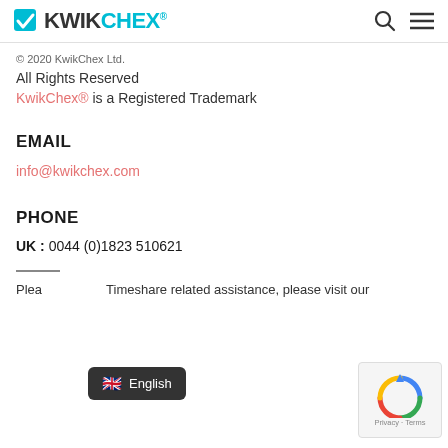KwikChex logo, search icon, menu icon
© 2020 KwikChex Ltd.
All Rights Reserved
KwikChex® is a Registered Trademark
EMAIL
info@kwikchex.com
PHONE
UK : 0044 (0)1823 510621
Please [for] Timeshare related assistance, please visit our